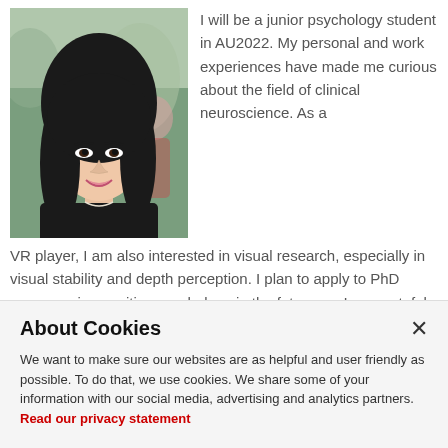[Figure (photo): Portrait photo of a young Asian woman smiling, with dark long hair, wearing a black top, outdoors with blurred green and people background.]
I will be a junior psychology student in AU2022. My personal and work experiences have made me curious about the field of clinical neuroscience. As a VR player, I am also interested in visual research, especially in visual stability and depth perception. I plan to apply to PhD programs in cognitive psychology in the future, so I am grateful for the opportunity to learn more about scientific research in my area of interest before applying. I hope to
About Cookies
We want to make sure our websites are as helpful and user friendly as possible. To do that, we use cookies. We share some of your information with our social media, advertising and analytics partners. Read our privacy statement